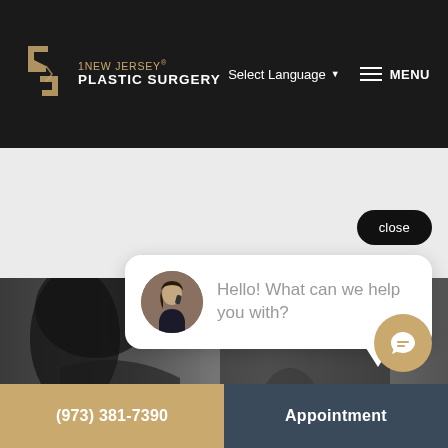[Figure (screenshot): Website header with New Jersey Plastic Surgery logo, Select Language dropdown, and MENU hamburger button on dark background]
Select Language ▼
MENU
close
Hello! What can we help you with?
[Figure (photo): Grayscale photo of a woman with dark hair, wearing a black outfit, viewed from behind/side]
(973) 381-7390
Appointment